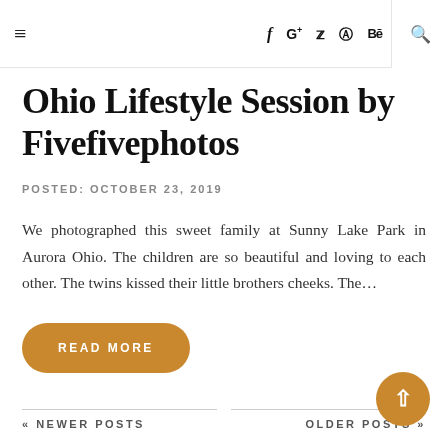≡  f  G+  ✦  ◎  Bē  ⊕  ▶  🔍
Ohio Lifestyle Session by Fivefivephotos
POSTED: OCTOBER 23, 2019
We photographed this sweet family at Sunny Lake Park in Aurora Ohio. The children are so beautiful and loving to each other. The twins kissed their little brothers cheeks. The…
READ MORE
« NEWER POSTS    OLDER POSTS »